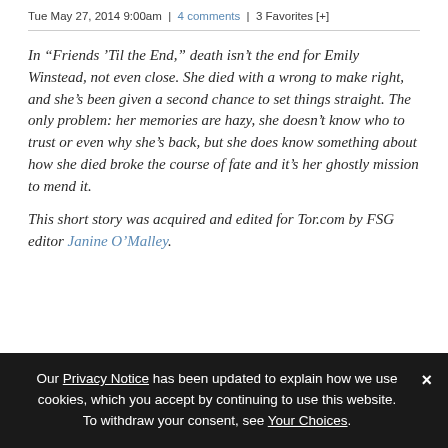Tue May 27, 2014 9:00am | 4 comments | 3 Favorites [+]
In “Friends ’Til the End,” death isn’t the end for Emily Winstead, not even close. She died with a wrong to make right, and she’s been given a second chance to set things straight. The only problem: her memories are hazy, she doesn’t know who to trust or even why she’s back, but she does know something about how she died broke the course of fate and it’s her ghostly mission to mend it.
This short story was acquired and edited for Tor.com by FSG editor Janine O’Malley.
Our Privacy Notice has been updated to explain how we use cookies, which you accept by continuing to use this website. To withdraw your consent, see Your Choices.